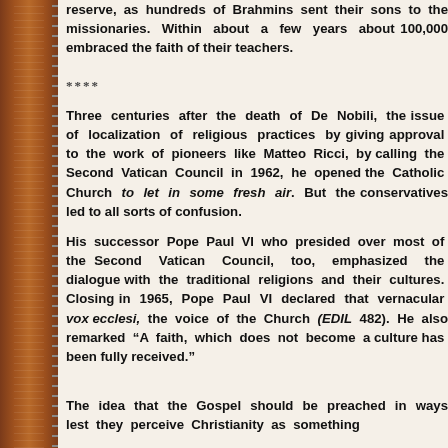reserve, as hundreds of Brahmins sent their sons to the missionaries. Within about a few years about 100,000 embraced the faith of their teachers.
****
Three centuries after the death of De Nobili, the issue of localization of religious practices by giving approval to the work of pioneers like Matteo Ricci, by calling the Second Vatican Council in 1962, he opened the Catholic Church to let in some fresh air. But the conservatives led to all sorts of confusion.
His successor Pope Paul VI who presided over most of the Second Vatican Council, too, emphasized the dialogue with the traditional religions and their cultures. Closing in 1965, Pope Paul VI declared that vernacular vox ecclesi, the voice of the Church (EDIL 482). He also remarked “A faith, which does not become a culture has not been fully received.”
The idea that the Gospel should be preached in ways lest they perceive Christianity as something